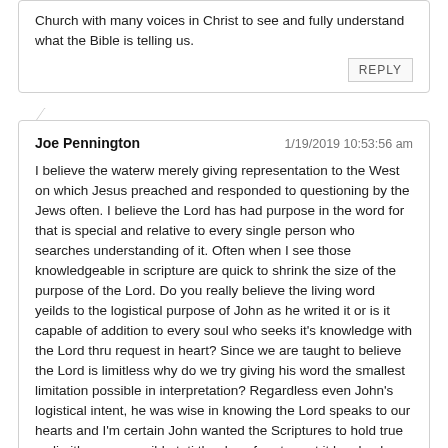Church with many voices in Christ to see and fully understand what the Bible is telling us.
REPLY
Joe Pennington    1/19/2019 10:53:56 am
I believe the waterw merely giving representation to the West on which Jesus preached and responded to questioning by the Jews often. I believe the Lord has had purpose in the word for that is special and relative to every single person who searches understanding of it. Often when I see those knowledgeable in scripture are quick to shrink the size of the purpose of the Lord. Do you really believe the living word yeilds to the logistical purpose of John as he writed it or is it capable of addition to every soul who seeks it's knowledge with the Lord thru request in heart? Since we are taught to believe the Lord is limitless why do we try giving his word the smallest limitation possible in interpretation? Regardless even John's logistical intent, he was wise in knowing the Lord speaks to our hearts and I'm certain John wanted the Scriptures to hold true as limitless as possible toti the day of rapture at it has back then. We are all just the farmers, the Lord confirm the seed of faith and nurtures it with Grace etc